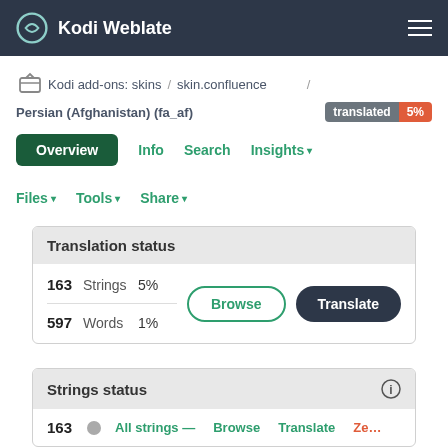Kodi Weblate
Kodi add-ons: skins / skin.confluence / Persian (Afghanistan) (fa_af) translated 5%
Overview   Info   Search   Insights ▾
Files ▾   Tools ▾   Share ▾
Translation status
| Count | Type | Percent |
| --- | --- | --- |
| 163 | Strings | 5% |
| 597 | Words | 1% |
Strings status
163   All strings —   Browse   Translate   Ze…